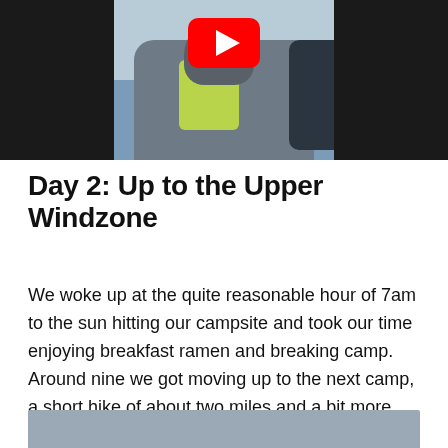[Figure (photo): Video thumbnail showing a person in a grey winter jacket and neon yellow layer underneath, against a light blue/grey background. A YouTube play button (red circle with white triangle) is overlaid at the top center. Dark letterbox bars on left and right sides.]
Day 2: Up to the Upper Windzone
We woke up at the quite reasonable hour of 7am to the sun hitting our campsite and took our time enjoying breakfast ramen and breaking camp. Around nine we got moving up to the next camp, a short hike of about two miles and a bit more than +2,000'.
[Figure (photo): Partially visible photo at bottom of page showing a grey/blue sky or landscape scene.]